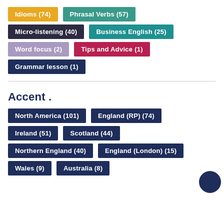Idioms (74)
Phrasal Verbs (57)
Micro-listening (40)
Business English (25)
Word focus (2)
Tips and Advice (1)
Grammar lesson (1)
Accent .
North America (101)
England (RP) (74)
Ireland (51)
Scotland (44)
Northern England (40)
England (London) (15)
Wales (9)
Australia (8)